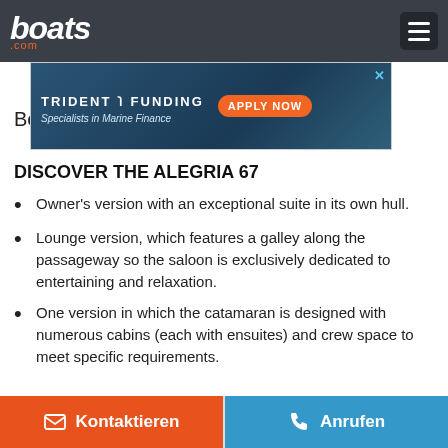boats.com
[Figure (screenshot): Trident Funding advertisement banner — 'TRIDENT FUNDING — Specialists in Marine Finance — APPLY NOW' with a boat image on a blue background.]
Beschre
DISCOVER THE ALEGRIA 67
Owner's version with an exceptional suite in its own hull.
Lounge version, which features a galley along the passageway so the saloon is exclusively dedicated to entertaining and relaxation.
One version in which the catamaran is designed with numerous cabins (each with ensuites) and crew space to meet specific requirements.
Kontaktieren   Anrufen